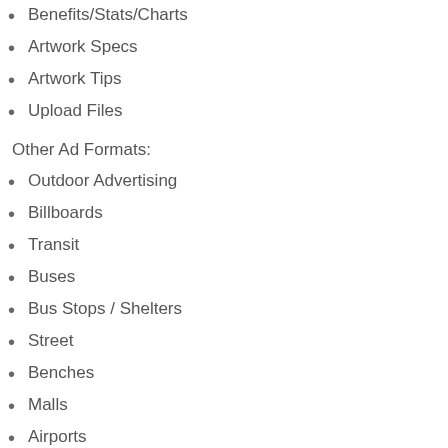Benefits/Stats/Charts
Artwork Specs
Artwork Tips
Upload Files
Other Ad Formats:
Outdoor Advertising
Billboards
Transit
Buses
Bus Stops / Shelters
Street
Benches
Malls
Airports
Taxis
Gas Stations
Supermarkets
Convenience Stores